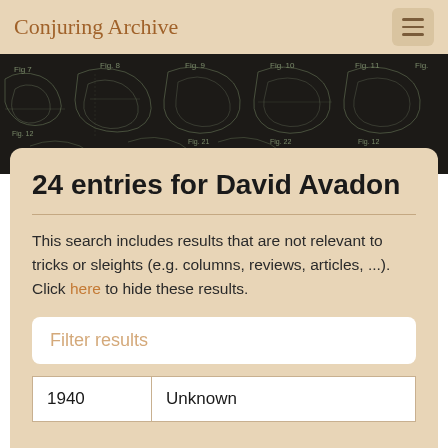Conjuring Archive
[Figure (illustration): Dark banner with white blueprint-style technical drawings of magic props/sleight of hand apparatus]
24 entries for David Avadon
This search includes results that are not relevant to tricks or sleights (e.g. columns, reviews, articles, ...). Click here to hide these results.
| Year | Description |
| --- | --- |
| 1940 | Unknown |